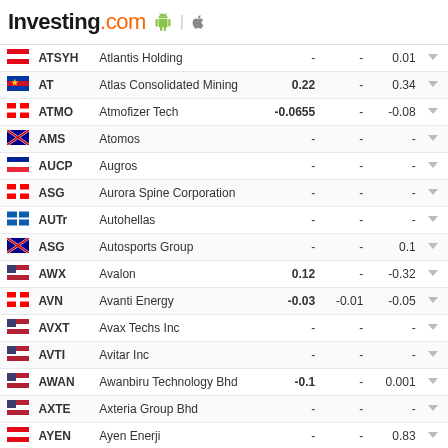Investing.com
| Flag | Ticker | Name | Val1 | Val2 | Val3 |  |
| --- | --- | --- | --- | --- | --- | --- |
| TR | ATSYH | Atlantis Holding | - | - | 0.01 | ▼ |
| PH | AT | Atlas Consolidated Mining | 0.22 | - | 0.34 | ▼ |
| CA | ATMO | Atmofizer Tech | -0.0655 | - | -0.08 | ▼ |
| AU | AMS | Atomos | - | - | - | ▼ |
| FR | AUCP | Augros | - | - | - | ▼ |
| CA | ASG | Aurora Spine Corporation | - | - | - | ▼ |
| GR | AUTr | Autohellas | - | - | - | ▼ |
| AU | ASG | Autosports Group | - | - | 0.1 | ▼ |
| US | AWX | Avalon | 0.12 | - | -0.32 | ▼ |
| CA | AVN | Avanti Energy | -0.03 | -0.01 | -0.05 | ▼ |
| US | AVXT | Avax Techs Inc | - | - | - | ▼ |
| US | AVTI | Avitar Inc | - | - | - | ▼ |
| US | AWAN | Awanbiru Technology Bhd | -0.1 | - | 0.001 | ▼ |
| US | AXTE | Axteria Group Bhd | - | - | - | ▼ |
| TR | AYEN | Ayen Enerji | - | - | 0.83 | ▼ |
| IL | AZRM | Azorim Investment | 0.4 | - | 0.21 | ▼ |